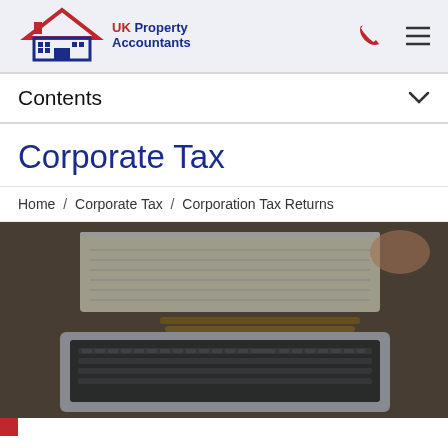UK Property Accountants
Contents
Corporate Tax
Home / Corporate Tax / Corporation Tax Returns
[Figure (photo): Close-up photo of a laptop keyboard with pencils and an open accounting ledger/notebook in the background, on a wooden desk.]